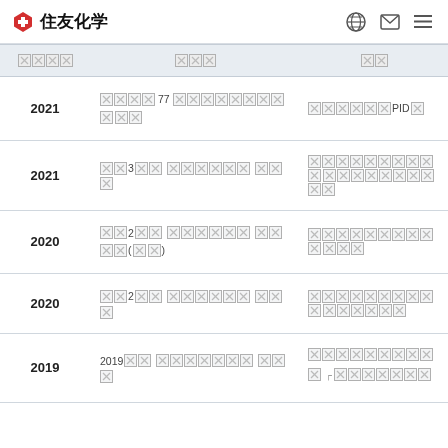住友化学
| 年度 | 内容 | 受賞 |
| --- | --- | --- |
| 2021 | 〓〓〓〓 〓77〓〓〓〓〓〓〓〓 〓〓〓 | 〓〓〓〓〓〓PID〓〓 |
| 2021 | 〓〓3〓〓 〓〓〓〓〓〓 〓〓〓 | 〓〓〓〓〓〓〓〓〓〓 〓〓〓〓〓〓〓〓〓〓 |
| 2020 | 〓〓2〓〓 〓〓〓〓〓〓 〓〓〓〓(〓〓) | 〓〓〓〓〓〓〓〓〓〓 〓〓〓 |
| 2020 | 〓〓2〓〓 〓〓〓〓〓〓 〓〓〓 | 〓〓〓〓〓〓〓〓〓〓 〓〓〓〓〓〓 |
| 2019 | 2019〓〓 〓〓〓〓〓〓 〓〓〓 | 〓〓〓〓〓〓〓〓〓〓 「〓〓〓〓〓〓〓〓 |